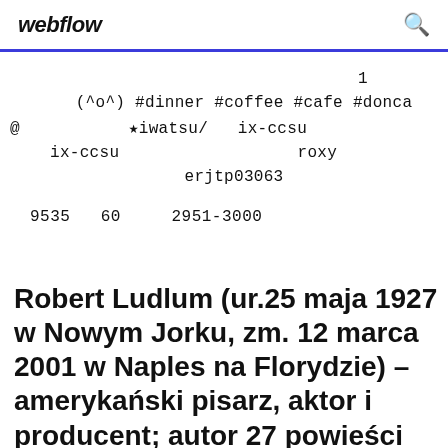webflow
1
(^o^) #dinner #coffee #cafe #donca
@ ★iwatsu/ ix-ccsu
ix-ccsu roxy
erjtp03063
9535 60 2951-3000
Robert Ludlum (ur.25 maja 1927 w Nowym Jorku, zm. 12 marca 2001 w Naples na Florydzie) – amerykański pisarz, aktor i producent; autor 27 powieści